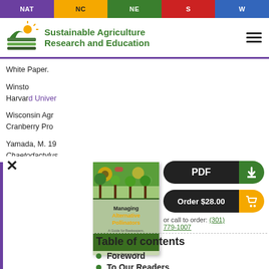NAT | NC | NE | S | W
[Figure (logo): SARE logo — green field with sun, Sustainable Agriculture Research and Education]
White Paper.
Winston [truncated by modal] Harvard University [truncated]
Wisconsin Agr[iculture truncated] Cranberry Pro[duction truncated]
Yamada, M. 19[xx truncated] Chaetodactylus [truncated] mortality agen[t truncated] Radoszkowski [truncated] Bulletin 26: 39[– truncated]
Zayed, A., D. R[truncated] diploid male fr[equency truncated] pollinator decl[ine truncated]
[Figure (illustration): Book cover: Managing Alternative Pollinators — green cover with bee imagery and orchard scene]
[Figure (other): PDF download button (black/green pill-shaped) and Order $28.00 button (black/yellow pill-shaped)]
or call to order: (301) 779-1007
Table of contents
Foreword
To Our Readers